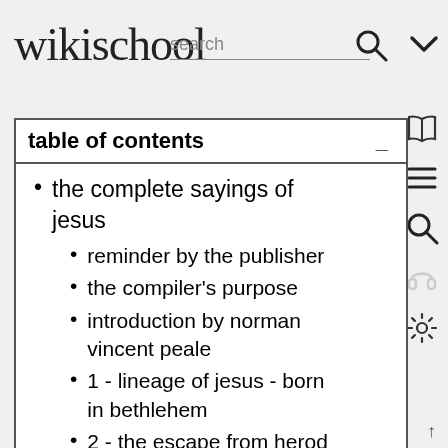wikischool
search
table of contents
the complete sayings of jesus
reminder by the publisher
the compiler's purpose
introduction by norman vincent peale
1 - lineage of jesus - born in bethlehem
2 - the escape from herod